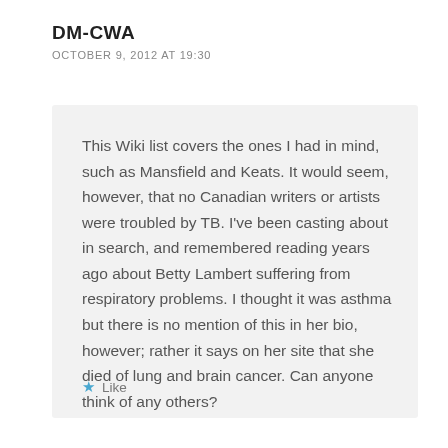DM-CWA
OCTOBER 9, 2012 AT 19:30
This Wiki list covers the ones I had in mind, such as Mansfield and Keats. It would seem, however, that no Canadian writers or artists were troubled by TB. I've been casting about in search, and remembered reading years ago about Betty Lambert suffering from respiratory problems. I thought it was asthma but there is no mention of this in her bio, however; rather it says on her site that she died of lung and brain cancer. Can anyone think of any others?
Like